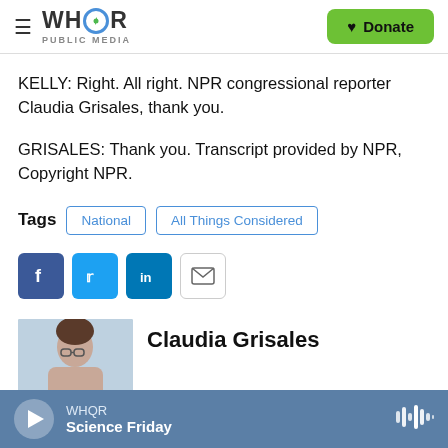WHQR PUBLIC MEDIA | Donate
KELLY: Right. All right. NPR congressional reporter Claudia Grisales, thank you.
GRISALES: Thank you. Transcript provided by NPR, Copyright NPR.
Tags  National  All Things Considered
[Figure (other): Social share buttons: Facebook, Twitter, LinkedIn, Email]
Claudia Grisales
WHQR  Science Friday (audio player bar)